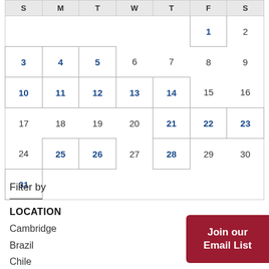| S | M | T | W | T | F | S |
| --- | --- | --- | --- | --- | --- | --- |
|  |  |  |  |  | 1 | 2 |
| 3 | 4 | 5 | 6 | 7 | 8 | 9 |
| 10 | 11 | 12 | 13 | 14 | 15 | 16 |
| 17 | 18 | 19 | 20 | 21 | 22 | 23 |
| 24 | 25 | 26 | 27 | 28 | 29 | 30 |
| 31 |  |  |  |  |  |  |
Filter by
LOCATION
Cambridge
Brazil
Chile
Join our Email List